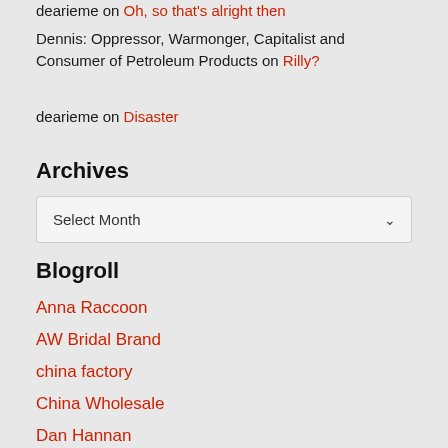dearieme on Oh, so that's alright then
Dennis: Oppressor, Warmonger, Capitalist and Consumer of Petroleum Products on Rilly?
dearieme on Disaster
Archives
Select Month
Blogroll
Anna Raccoon
AW Bridal Brand
china factory
China Wholesale
Dan Hannan
Figures of Speech